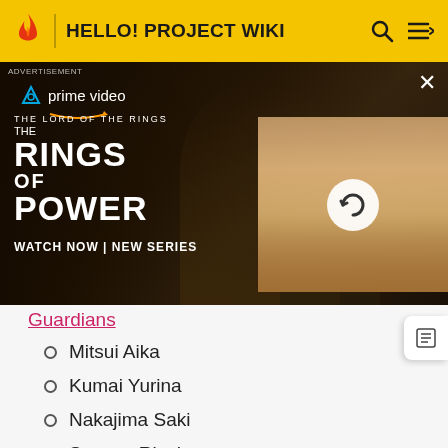HELLO! PROJECT WIKI
[Figure (screenshot): Amazon Prime Video advertisement for 'The Lord of the Rings: The Rings of Power' showing two main characters with 'WATCH NOW | NEW SERIES' text, plus a second image panel with a blonde character and a reload/refresh icon overlay.]
Guardians (partial, link)
Mitsui Aika
Kumai Yurina
Nakajima Saki
Sugaya Risako
High-King
Takahashi Ai
Tanaka Reina
Shimizu Saki